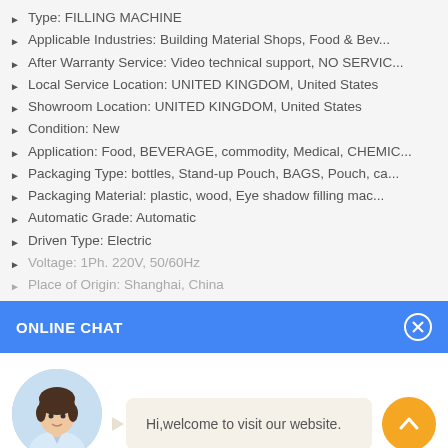Type: FILLING MACHINE
Applicable Industries: Building Material Shops, Food & Bev...
After Warranty Service: Video technical support, NO SERVIC...
Local Service Location: UNITED KINGDOM, United States
Showroom Location: UNITED KINGDOM, United States
Condition: New
Application: Food, BEVERAGE, commodity, Medical, CHEMIC...
Packaging Type: bottles, Stand-up Pouch, BAGS, Pouch, ca...
Packaging Material: plastic, wood, Eye shadow filling mac...
Automatic Grade: Automatic
Driven Type: Electric
Voltage: 1Ph. 220V, 50/60Hz
Place of Origin: Shanghai, China
ONLINE CHAT
Hi,welcome to visit our website.
Cilina